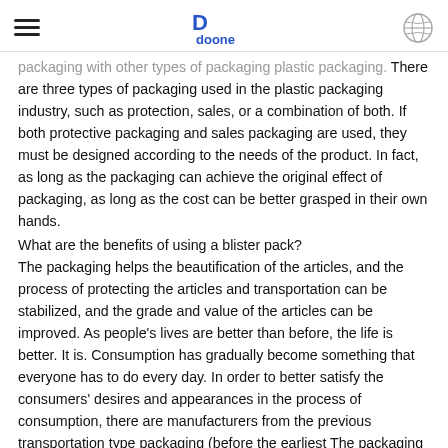doone (logo with hamburger menu and globe icon)
packaging with other types of packaging plastic packaging. There are three types of packaging used in the plastic packaging industry, such as protection, sales, or a combination of both. If both protective packaging and sales packaging are used, they must be designed according to the needs of the product. In fact, as long as the packaging can achieve the original effect of packaging, as long as the cost can be better grasped in their own hands.
What are the benefits of using a blister pack?
The packaging helps the beautification of the articles, and the process of protecting the articles and transportation can be stabilized, and the grade and value of the articles can be improved. As people's lives are better than before, the life is better. It is. Consumption has gradually become something that everyone has to do every day. In order to better satisfy the consumers' desires and appearances in the process of consumption, there are manufacturers from the previous transportation type packaging (before the earliest The packaging is only for the convenience of